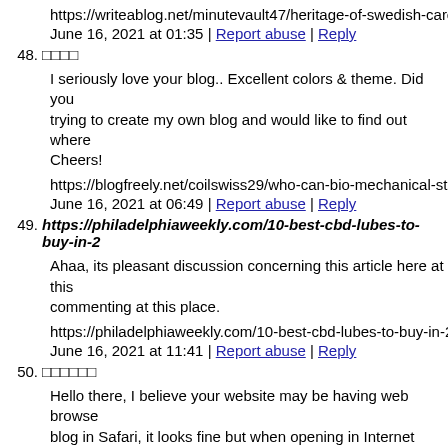https://writeablog.net/minutevault47/heritage-of-swedish-care
June 16, 2021 at 01:35 | Report abuse | Reply
48. □□□□
I seriously love your blog.. Excellent colors & theme. Did you trying to create my own blog and would like to find out where Cheers!
https://blogfreely.net/coilswiss29/who-can-bio-mechanical-sti
June 16, 2021 at 06:49 | Report abuse | Reply
49. https://philadelphiaweekly.com/10-best-cbd-lubes-to-buy-in-2
Ahaa, its pleasant discussion concerning this article here at this commenting at this place.
https://philadelphiaweekly.com/10-best-cbd-lubes-to-buy-in-20
June 16, 2021 at 11:41 | Report abuse | Reply
50. □□□□□□
Hello there, I believe your website may be having web browser blog in Safari, it looks fine but when opening in Internet Explorer provide you with a quick heads up! Besides that, wonderful we